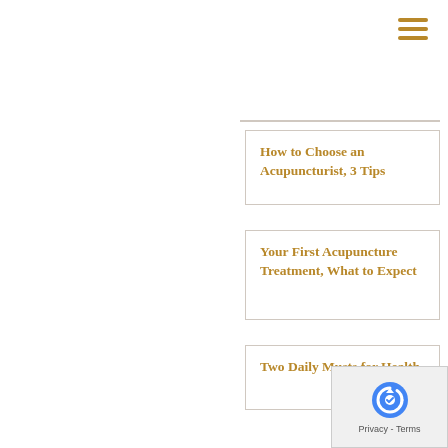[Figure (other): Hamburger menu icon with three horizontal lines in gold/amber color, top right corner]
How to Choose an Acupuncturist, 3 Tips
Your First Acupuncture Treatment, What to Expect
Two Daily Musts for Health
[Figure (logo): Google reCAPTCHA badge with Privacy and Terms text]